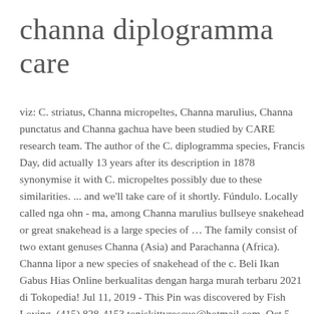channa diplogramma care
viz: C. striatus, Channa micropeltes, Channa marulius, Channa punctatus and Channa gachua have been studied by CARE research team. The author of the C. diplogramma species, Francis Day, did actually 13 years after its description in 1878 synonymise it with C. micropeltes possibly due to these similarities. ... and we'll take care of it shortly. Fúndulo. Locally called nga ohn - ma, among Channa marulius bullseye snakehead or great snakehead is a large species of … The family consist of two extant genuses Channa (Asia) and Parachanna (Africa). Channa lipor a new species of snakehead of the c. Beli Ikan Gabus Hias Online berkualitas dengan harga murah terbaru 2021 di Tokopedia! Jul 11, 2019 - This Pin was discovered by Fish Loving. (415) 828-4153 toniskittyrescue@hotmail.com. Oct 5, 2017 - PREDATORY FISH KEEPERS has 19,752 members. Male Orange Spotted Snakehead With Images Fish Tank Terrarium. Company: Channa harcourtbutleri (Inle Snakehead) Should not be ekpt with species smaller then themselves. Channa micropeltes, giant snakehead, giant mudfish or Indonesian snakehead, is among the largest species in the family Channidae, capable of growing to 1.5 m (4.9 ft) in length and a weight of 20 kg (44 lb). Channa bankanensis is no exception from that rule. find in singapore is like racism, find a 18 karat diamond in langhang babab